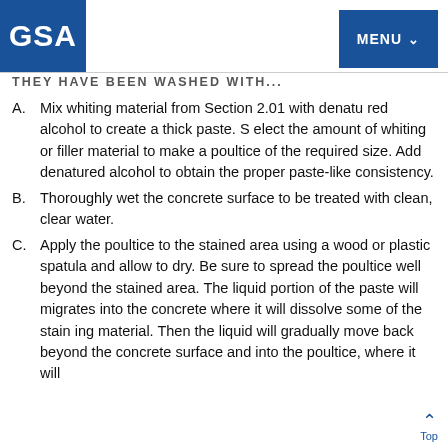GSA | MENU
THEY HAVE BEEN WASHED WITH...
A. Mix whiting material from Section 2.01 with denatured alcohol to create a thick paste. Select the amount of whiting or filler material to make a poultice of the required size. Add denatured alcohol to obtain the proper paste-like consistency.
B. Thoroughly wet the concrete surface to be treated with clean, clear water.
C. Apply the poultice to the stained area using a wood or plastic spatula and allow to dry. Be sure to spread the poultice well beyond the stained area. The liquid portion of the paste will migrates into the concrete where it will dissolve some of the staining material. Then the liquid will gradually move back beyond the concrete surface and into the poultice, where it will